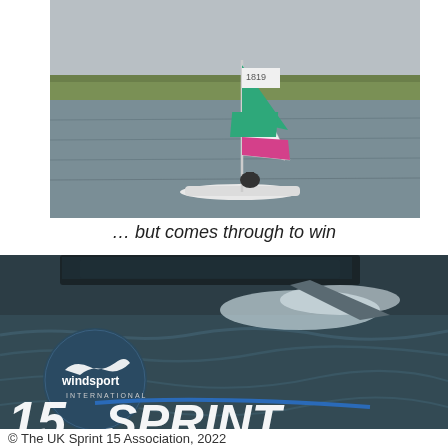[Figure (photo): Sailboat with white hull, green and pink sail marked 1819, sailing on a grey lake with green hills in the background]
… but comes through to win
[Figure (photo): Close-up action shot of a Sprint 15 catamaran hull skimming across dark choppy water at speed, with windsport international logo circle overlay and '15 SPRINT' branding text]
© The UK Sprint 15 Association, 2022